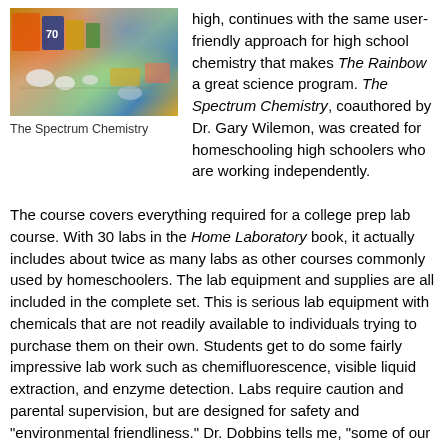[Figure (photo): Photo of The Spectrum Chemistry kit showing lab equipment, chemicals, and supplies spread out on a surface with colorful boxes and containers.]
The Spectrum Chemistry
high, continues with the same user-friendly approach for high school chemistry that makes The Rainbow a great science program. The Spectrum Chemistry, coauthored by Dr. Gary Wilemon, was created for homeschooling high schoolers who are working independently.
The course covers everything required for a college prep lab course. With 30 labs in the Home Laboratory book, it actually includes about twice as many labs as other courses commonly used by homeschoolers. The lab equipment and supplies are all included in the complete set. This is serious lab equipment with chemicals that are not readily available to individuals trying to purchase them on their own. Students get to do some fairly impressive lab work such as chemifluorescence, visible liquid extraction, and enzyme detection. Labs require caution and parental supervision, but are designed for safety and "environmental friendliness." Dr. Dobbins tells me, "some of our most impressive reactions are done in the clean-up section to